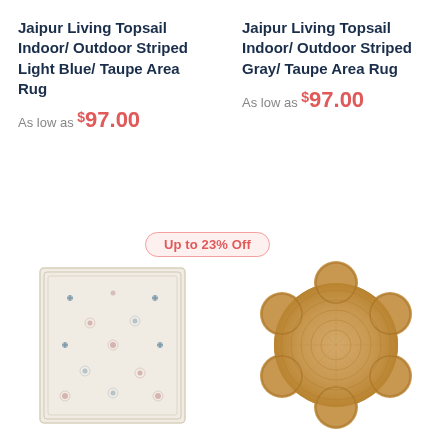Jaipur Living Topsail Indoor/ Outdoor Striped Light Blue/ Taupe Area Rug
As low as $97.00
Jaipur Living Topsail Indoor/ Outdoor Striped Gray/ Taupe Area Rug
As low as $97.00
Up to 23% Off
[Figure (photo): Flat rectangular area rug with light cream background and scattered small floral/geometric pattern in blue and pink tones]
[Figure (photo): Round flower-shaped jute area rug with natural tan/golden woven texture and scalloped petal edge border]